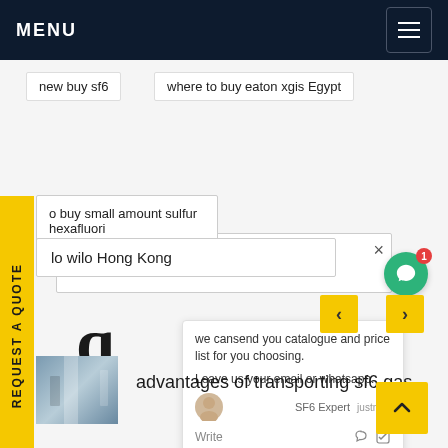MENU
new buy sf6
where to buy eaton xgis Egypt
here can I buy sulphur hexafluoride buy Brazil
o buy small amount sulfur hexafluori
lo wilo Hong Kong
we cansend you catalogue and price list for you choosing.
Leave us your email or whatsapp.
SF6 Expert   justnow
Write
REQUEST A QUOTE
q
[Figure (photo): Thumbnail photo of industrial SF6 gas equipment building]
advantages of transporting sf6 gas